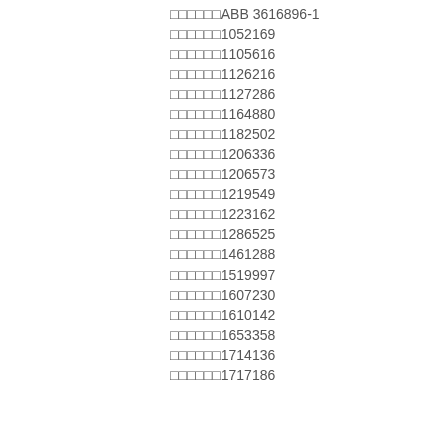□□□□□□ABB 3616896-1
□□□□□□1052169
□□□□□□1105616
□□□□□□1126216
□□□□□□1127286
□□□□□□1164880
□□□□□□1182502
□□□□□□1206336
□□□□□□1206573
□□□□□□1219549
□□□□□□1223162
□□□□□□1286525
□□□□□□1461288
□□□□□□1519997
□□□□□□1607230
□□□□□□1610142
□□□□□□1653358
□□□□□□1714136
□□□□□□1717186